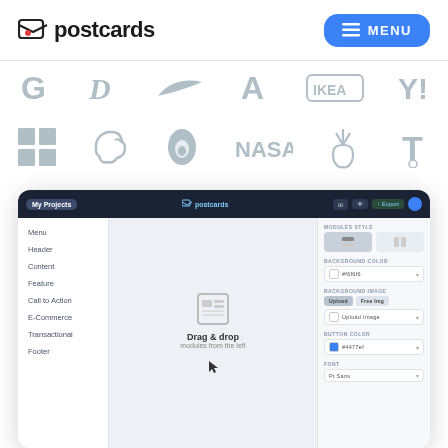[Figure (screenshot): Postcards email builder web app screenshot showing the navigation header with postcards logo and MENU button, two rows of brand logos (Google, Disney, Nike, Adobe, IKEA, Yahoo, Microsoft, Evernote, Squarespace, NASA, and others) in light gray, and the app interface with sidebar navigation (Menu, Header, Content, Feature, Call to Action, E-Commerce, Transactional, Footer), a canvas area with drag & drop placeholder, and a right panel with module style, background color, background image, and button color settings.]